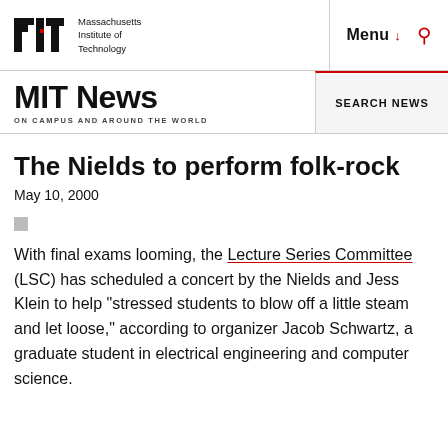MIT — Massachusetts Institute of Technology | Menu | Search
MIT News ON CAMPUS AND AROUND THE WORLD
The Nields to perform folk-rock
May 10, 2000
With final exams looming, the Lecture Series Committee (LSC) has scheduled a concert by the Nields and Jess Klein to help "stressed students to blow off a little steam and let loose," according to organizer Jacob Schwartz, a graduate student in electrical engineering and computer science.